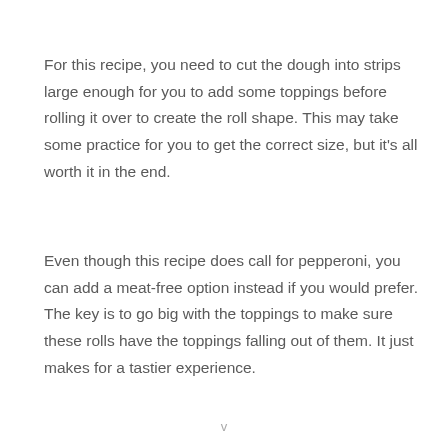For this recipe, you need to cut the dough into strips large enough for you to add some toppings before rolling it over to create the roll shape. This may take some practice for you to get the correct size, but it's all worth it in the end.
Even though this recipe does call for pepperoni, you can add a meat-free option instead if you would prefer. The key is to go big with the toppings to make sure these rolls have the toppings falling out of them. It just makes for a tastier experience.